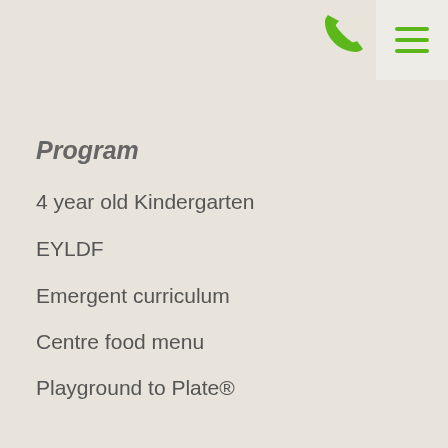[Figure (other): Green phone icon in top-right navigation area]
[Figure (other): Green hamburger menu icon with light grey background in top-right corner]
Program
4 year old Kindergarten
EYLDF
Emergent curriculum
Centre food menu
Playground to Plate®
Fees & Subsidies
Contact
Employment
Register